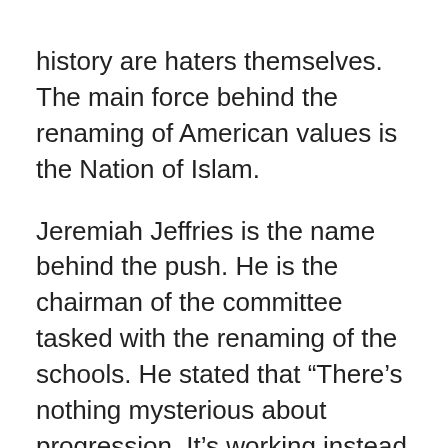history are haters themselves. The main force behind the renaming of American values is the Nation of Islam.

Jeremiah Jeffries is the name behind the push. He is the chairman of the committee tasked with the renaming of the schools. He stated that “There’s nothing mysterious about progression. It’s working instead of wishing.” His parents set the Sister Clara Muhammad School, which caters to the Muslim people. The Nation of Islam is nothing more than an anti-Jewish establishment that wants to put blacks over